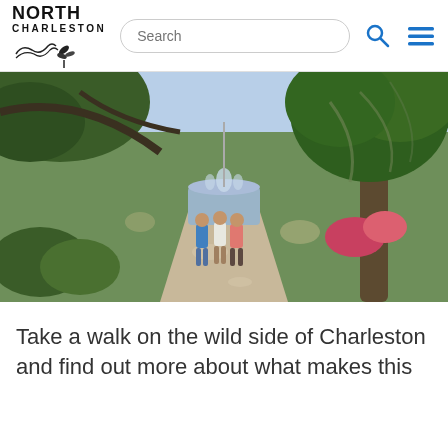North Charleston — Search bar and navigation
[Figure (photo): Three people walking on a shaded park path toward a fountain, large live oak trees draped with Spanish moss overhead, green shrubs and colorful flowers in the background, bright sunny day.]
Take a walk on the wild side of Charleston and find out more about what makes this